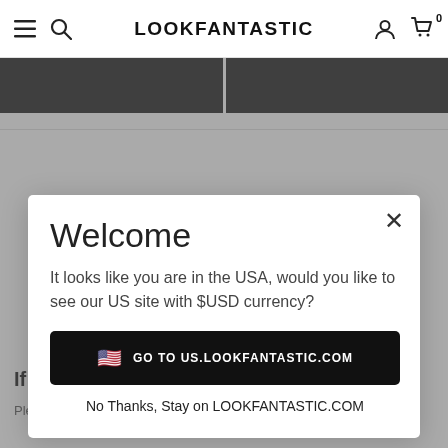LOOKFANTASTIC
[Figure (screenshot): Website screenshot showing LOOKFANTASTIC navigation bar with hamburger menu, search icon, brand name, user icon, and cart icon with 0 badge]
Welcome
It looks like you are in the USA, would you like to see our US site with $USD currency?
GO TO US.LOOKFANTASTIC.COM
No Thanks, Stay on LOOKFANTASTIC.COM
If I'm not completely happy with my item?
Please see our returns policy